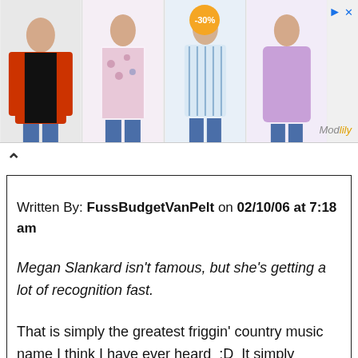[Figure (screenshot): Advertisement banner showing four women's clothing items (cardigan, floral blouse, striped top, purple blouse), with a -30% discount badge on the third item, and 'ModLily' branding in the top right corner.]
Written By: FussBudgetVanPelt on 02/10/06 at 7:18 am
Megan Slankard isn't famous, but she's getting a lot of recognition fast.
That is simply the greatest friggin' country music name I think I have ever heard ;D It simply embodies tragedy, just in the way it sounds :P
Subject: Re: Do any famous singers or bands